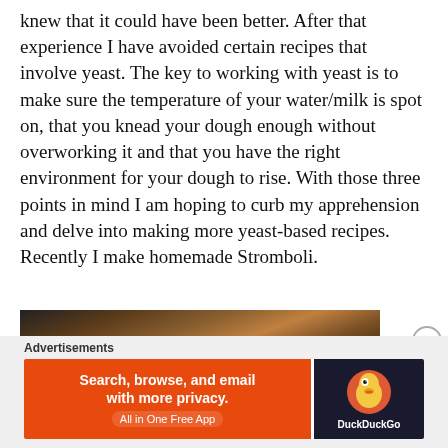knew that it could have been better. After that experience I have avoided certain recipes that involve yeast. The key to working with yeast is to make sure the temperature of your water/milk is spot on, that you knead your dough enough without overworking it and that you have the right environment for your dough to rise. With those three points in mind I am hoping to curb my apprehension and delve into making more yeast-based recipes. Recently I make homemade Stromboli.
[Figure (photo): Close-up photo of baked bread rolls or stromboli, dark brown baked dough visible]
Advertisements
[Figure (screenshot): DuckDuckGo advertisement banner: orange left side reads 'Search, browse, and email with more privacy. All in One Free App', dark right side shows DuckDuckGo duck logo and brand name]